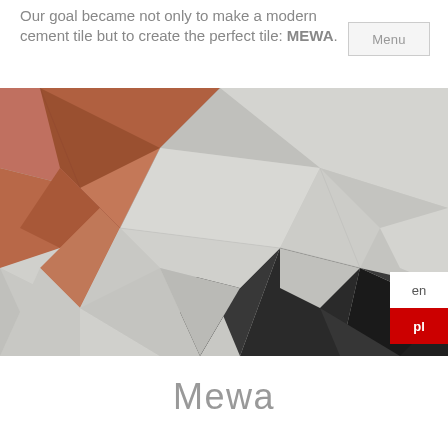Our goal became not only to make a modern cement tile but to create the perfect tile: MEWA.
[Figure (photo): Close-up photograph of geometric 3D faceted tiles in light grey, terracotta/copper brown, and dark charcoal/black colors arranged in a low-poly diamond pattern]
Mewa